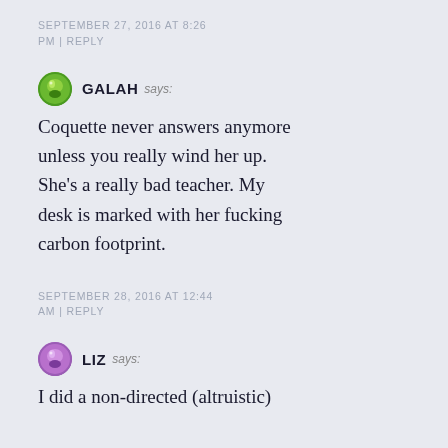SEPTEMBER 27, 2016 AT 8:26 PM | REPLY
GALAH says:
Coquette never answers anymore unless you really wind her up. She’s a really bad teacher. My desk is marked with her fucking carbon footprint.
SEPTEMBER 28, 2016 AT 12:44 AM | REPLY
LIZ says:
I did a non-directed (altruistic)